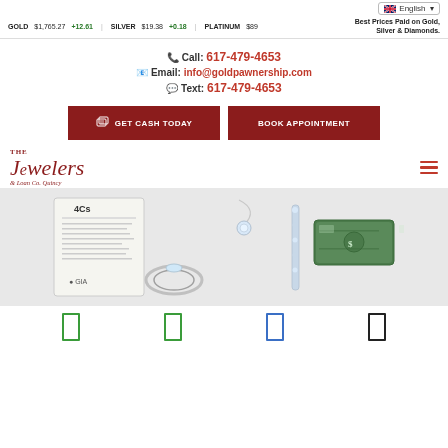English (language selector)
GOLD $1,765.27 +12.61   SILVER $19.38 +0.18   PLATINUM $89   Best Prices Paid on Gold, Silver & Diamonds.
📞 Call: 617-479-4653
📧 Email: info@goldpawnership.com
💬 Text: 617-479-4653
GET CASH TODAY   BOOK APPOINTMENT
[Figure (logo): The Jewelers & Loan Co. Quincy logo in dark red cursive script]
[Figure (photo): Jewelry items including diamond grading card (4Cs, GIA), a ring, a diamond pendant necklace, earrings, and US dollar bills rolled up]
[Figure (other): Bottom navigation bar with four icon rectangles in green, green, blue, and black colors]